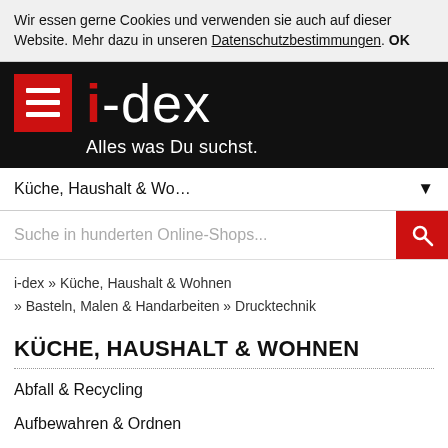Wir essen gerne Cookies und verwenden sie auch auf dieser Website. Mehr dazu in unseren Datenschutzbestimmungen. OK
[Figure (logo): i-dex logo with hamburger menu icon on red background, white text logo 'i-dex' and tagline 'Alles was Du suchst.' on black background]
Küche, Haushalt & Wo...
Suche in hunderten Online-Shops...
i-dex » Küche, Haushalt & Wohnen » Basteln, Malen & Handarbeiten » Drucktechnik
KÜCHE, HAUSHALT & WOHNEN
Abfall & Recycling
Aufbewahren & Ordnen
Aufbewahrung & Organisation